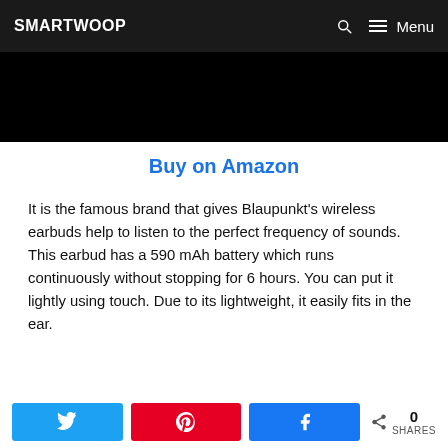SMARTWOOP
[Figure (photo): Dark/black hero image area at top of page]
Buy on Amazon
It is the famous brand that gives Blaupunkt's wireless earbuds help to listen to the perfect frequency of sounds. This earbud has a 590 mAh battery which runs continuously without stopping for 6 hours. You can put it lightly using touch. Due to its lightweight, it easily fits in the ear.
0 SHARES